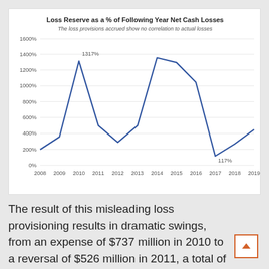[Figure (line-chart): Loss Reserve as a % of Following Year Net Cash Losses]
The result of this misleading loss provisioning results in dramatic swings, from an expense of $737 million in 2010 to a reversal of $526 million in 2011, a total of income statement impact of $1.3 billion in just two years.